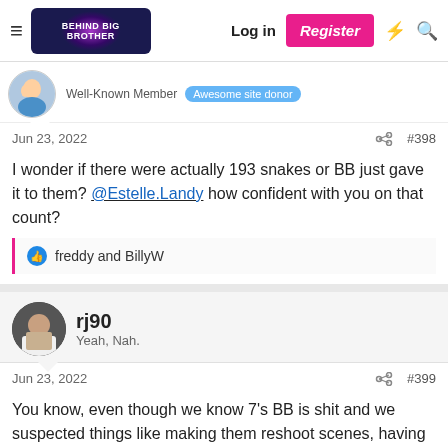Behind Big Brother — Log in | Register
Well-Known Member  Awesome site donor
Jun 23, 2022  #398
I wonder if there were actually 193 snakes or BB just gave it to them? @Estelle.Landy how confident with you on that count?
freddy and BillyW
rj90
Yeah, Nah.
Jun 23, 2022  #399
You know, even though we know 7's BB is shit and we suspected things like making them reshoot scenes, having it confirmed is a bit disheartening.